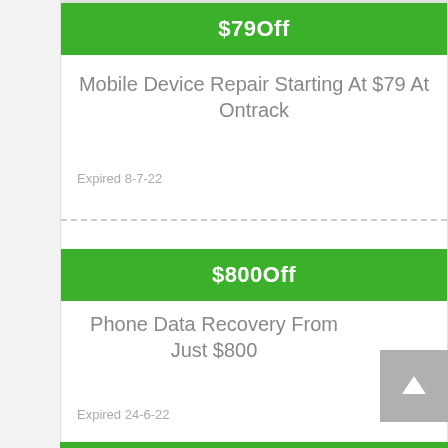$79Off
Mobile Device Repair Starting At $79 At Ontrack
Expired 8-7-22
$800Off
Phone Data Recovery From Just $800
Expired 24-6-22